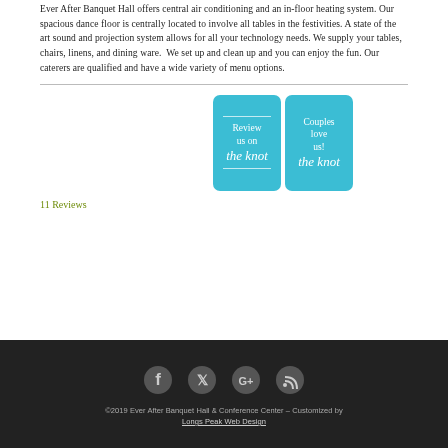Ever After Banquet Hall offers central air conditioning and an in-floor heating system. Our spacious dance floor is centrally located to involve all tables in the festivities. A state of the art sound and projection system allows for all your technology needs. We supply your tables, chairs, linens, and dining ware. We set up and clean up and you can enjoy the fun. Our caterers are qualified and have a wide variety of menu options.
[Figure (logo): Two side-by-side blue badges for The Knot wedding website. Left badge says 'Review us on the knot' with decorative lines. Right badge says 'Couples love us! the knot' with decorative lines.]
11 Reviews
©2019 Ever After Banquet Hall & Conference Center – Customized by Longs Peak Web Design